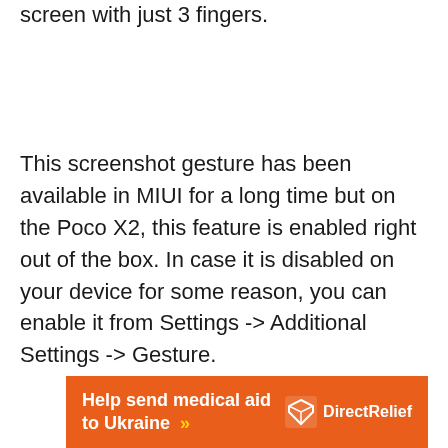screen with just 3 fingers.
This screenshot gesture has been available in MIUI for a long time but on the Poco X2, this feature is enabled right out of the box. In case it is disabled on your device for some reason, you can enable it from Settings -> Additional Settings -> Gesture.
[Figure (other): Orange advertisement banner for Direct Relief: 'Help send medical aid to Ukraine >>' with Direct Relief logo on the right]